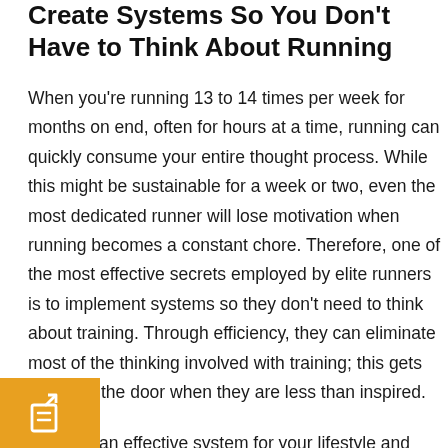Create Systems So You Don't Have to Think About Running
When you're running 13 to 14 times per week for months on end, often for hours at a time, running can quickly consume your entire thought process. While this might be sustainable for a week or two, even the most dedicated runner will lose motivation when running becomes a constant chore. Therefore, one of the most effective secrets employed by elite runners is to implement systems so they don't need to think about training. Through efficiency, they can eliminate most of the thinking involved with training; this gets them out the door when they are less than inspired.
Creating an effective system for your lifestyle and specific motivational challenges can seem daunting. However, here is a step-by-step process that can help you create a foolproof system to get through those days you just don't want to run.